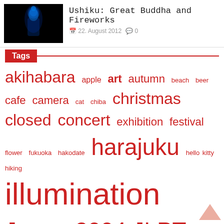[Figure (photo): Dark background photo of blue-lit Buddha statue]
Ushiku: Great Buddha and Fireworks
22. August 2012   0
Tags
akihabara apple art autumn beach beer cafe camera cat chiba christmas closed concert exhibition festival flower fukuoka hakodate harajuku hello kitty hiking illumination Japan 2004 JLPT karaoke naganuma nakano-ku night odaiba penguins roppongi sapporo shibuya shinjuku-ku snow television toy camera train transportation vegan